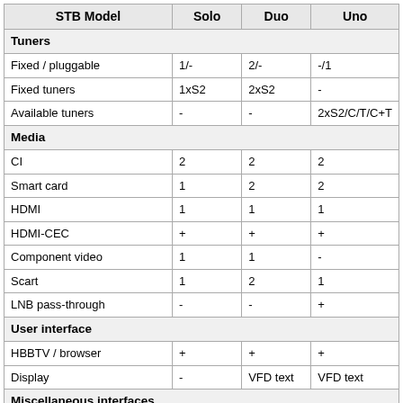| STB Model | Solo | Duo | Uno |
| --- | --- | --- | --- |
| Tuners |  |  |  |
| Fixed / pluggable | 1/- | 2/- | -/1 |
| Fixed tuners | 1xS2 | 2xS2 | - |
| Available tuners | - | - | 2xS2/C/T/C+T |
| Media |  |  |  |
| CI | 2 | 2 | 2 |
| Smart card | 1 | 2 | 2 |
| HDMI | 1 | 1 | 1 |
| HDMI-CEC | + | + | + |
| Component video | 1 | 1 | - |
| Scart | 1 | 2 | 1 |
| LNB pass-through | - | - | + |
| User interface |  |  |  |
| HBBTV / browser | + | + | + |
| Display | - | VFD text | VFD text |
| Miscellaneous interfaces |  |  |  |
| Ethernet Mbps | 100 | 100 | 100 |
| USB 2.0 host | 2 | 3 | 3 |
| Storage |  |  |  |